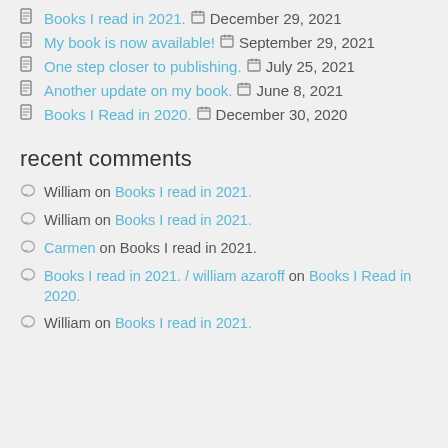Books I read in 2021.  December 29, 2021
My book is now available!  September 29, 2021
One step closer to publishing.  July 25, 2021
Another update on my book.  June 8, 2021
Books I Read in 2020.  December 30, 2020
recent comments
William on Books I read in 2021.
William on Books I read in 2021.
Carmen on Books I read in 2021.
Books I read in 2021. / william azaroff on Books I Read in 2020.
William on Books I read in 2021.